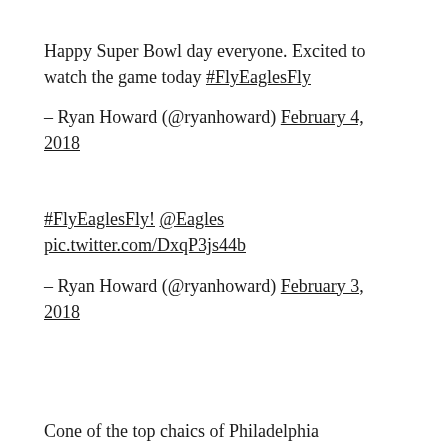Happy Super Bowl day everyone. Excited to watch the game today #FlyEaglesFly
– Ryan Howard (@ryanhoward) February 4, 2018
#FlyEaglesFly! @Eagles pic.twitter.com/DxqP3js44b
– Ryan Howard (@ryanhoward) February 3, 2018
Cone of the top cha...ics of Philadelphia...